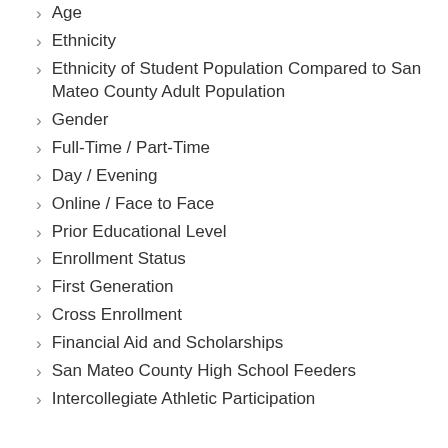Age
Ethnicity
Ethnicity of Student Population Compared to San Mateo County Adult Population
Gender
Full-Time / Part-Time
Day / Evening
Online / Face to Face
Prior Educational Level
Enrollment Status
First Generation
Cross Enrollment
Financial Aid and Scholarships
San Mateo County High School Feeders
Intercollegiate Athletic Participation